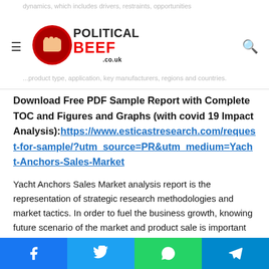dynamics, which includes drivers, restraints, opportunities ...product type, application, key manufacturers, regions and countries.
Download Free PDF Sample Report with Complete TOC and Figures and Graphs (with covid 19 Impact Analysis):https://www.esticastresearch.com/request-for-sample/?utm_source=PR&utm_medium=Yacht-Anchors-Sales-Market
Yacht Anchors Sales Market analysis report is the representation of strategic research methodologies and market tactics. In order to fuel the business growth, knowing future scenario of the market and product sale is important and market research is the best way of obtaining forecasting of entire market scenario. Marketing strategy is also covered
Facebook Twitter WhatsApp Telegram